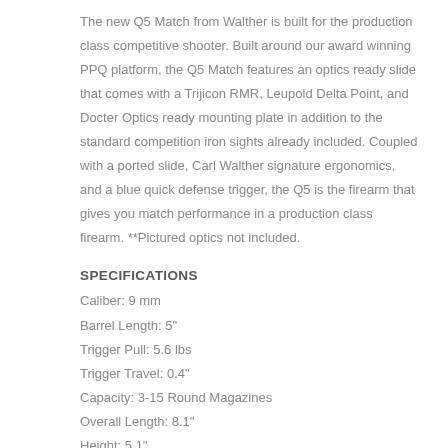The new Q5 Match from Walther is built for the production class competitive shooter. Built around our award winning PPQ platform, the Q5 Match features an optics ready slide that comes with a Trijicon RMR, Leupold Delta Point, and Docter Optics ready mounting plate in addition to the standard competition iron sights already included. Coupled with a ported slide, Carl Walther signature ergonomics, and a blue quick defense trigger, the Q5 is the firearm that gives you match performance in a production class firearm. **Pictured optics not included.
SPECIFICATIONS
Caliber: 9 mm
Barrel Length: 5"
Trigger Pull: 5.6 lbs
Trigger Travel: 0.4"
Capacity: 3-15 Round Magazines
Overall Length: 8.1"
Height: 5.1"